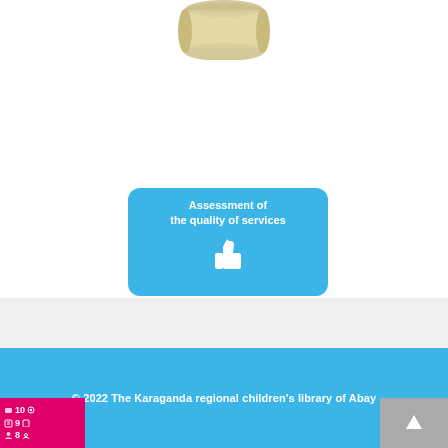[Figure (illustration): Partial view of a diploma/scroll image at the top of the page, cropped, showing a beige rolled scroll.]
[Figure (infographic): Blue rounded rectangle card with white bold text reading 'Assessment of the quality of services' and a white thumbs-up icon below the text.]
© 2022 The Karaganda regional children's library of Abay
[Figure (other): Pink/magenta widget in bottom left corner showing numbers 10, 9, 8 with small icons (eye, book, person). Gray arrow-up button in bottom right corner.]